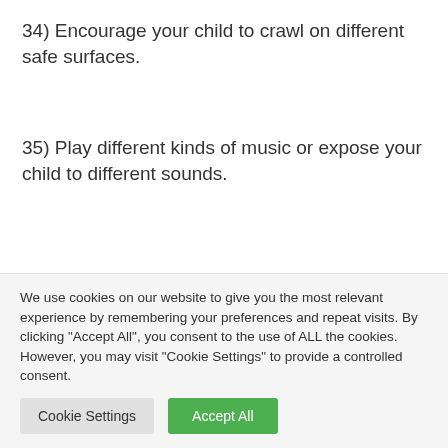34) Encourage your child to crawl on different safe surfaces.
35) Play different kinds of music or expose your child to different sounds.
36) Most babies begin to appreciate sand-play at around 12 months but if your child is ready,
We use cookies on our website to give you the most relevant experience by remembering your preferences and repeat visits. By clicking "Accept All", you consent to the use of ALL the cookies. However, you may visit "Cookie Settings" to provide a controlled consent.